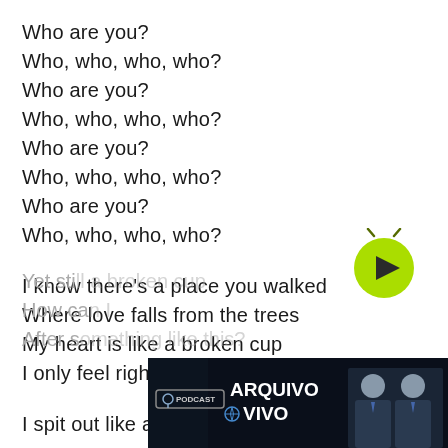Who are you?
Who, who, who, who?
Who are you?
Who, who, who, who?
Who are you?
Who, who, who, who?
Who are you?
Who, who, who, who?
I know there's a place you walked
Where love falls from the trees
My heart is like a broken cup
I only feel right on my knees
I spit out like a sewer hole
Yet sti...
How ca...
After s...
[Figure (screenshot): Arquivo Vivo podcast advertisement banner showing two men in suits and the text PODCAST ARQUIVO VIVO]